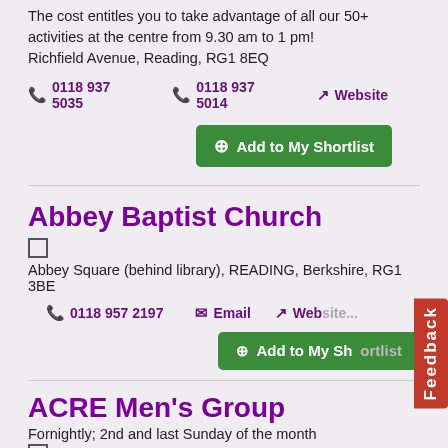The cost entitles you to take advantage of all our 50+ activities at the centre from 9.30 am to 1 pm!
Richfield Avenue, Reading, RG1 8EQ
📞 0118 937 5035   📞 0118 937 5014   ↗ Website
⊕ Add to My Shortlist
Abbey Baptist Church
Abbey Square (behind library), READING, Berkshire, RG1 3BE
📞 0118 957 2197   ✉ Email   ↗ Website
⊕ Add to My Shortlist
ACRE Men's Group
Fornightly; 2nd and last Sunday of the month
A relaxed space where men can come and discuss issues concerning them, their family or community. Build friendships and community links Discuss topical issues affecting men including health and wellbeing Receive encouragement and